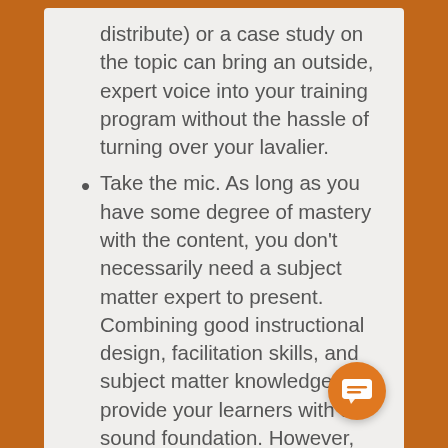distribute) or a case study on the topic can bring an outside, expert voice into your training program without the hassle of turning over your lavalier.
Take the mic. As long as you have some degree of mastery with the content, you don't necessarily need a subject matter expert to present. Combining good instructional design, facilitation skills, and subject matter knowledge can provide your learners with a sound foundation. However, one note of caution—make sure you don't rely on your facilitation skills to overcompensate for a lack of knowledge about a topic. According to research published in Training Industry magazine, "If trainers don't master the content they are delivering, that